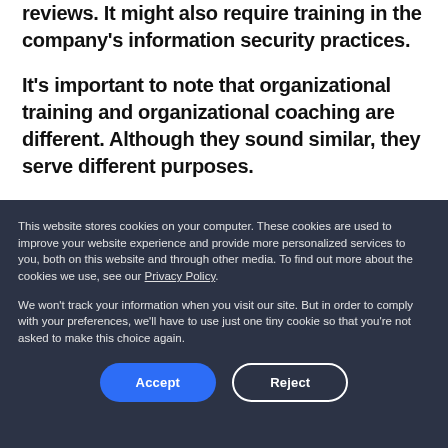reviews. It might also require training in the company's information security practices.
It's important to note that organizational training and organizational coaching are different. Although they sound similar, they serve different purposes.
This website stores cookies on your computer. These cookies are used to improve your website experience and provide more personalized services to you, both on this website and through other media. To find out more about the cookies we use, see our Privacy Policy.
We won't track your information when you visit our site. But in order to comply with your preferences, we'll have to use just one tiny cookie so that you're not asked to make this choice again.